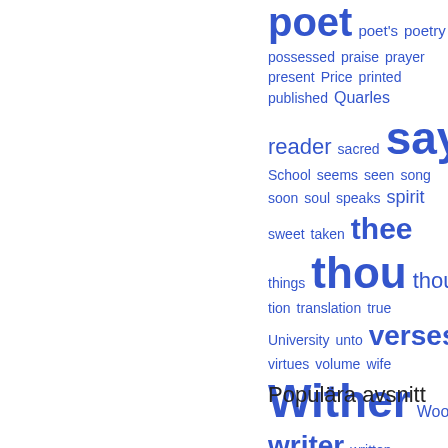[Figure (other): Word cloud (tag cloud) showing terms in varying font sizes in blue, displayed in the right half of the page. Terms include: poet (very large), poet's, poetry, possessed, praise, prayer, present, Price, printed, published, Quarles, reader, sacred, says (very large), School, seems, seen, song, soon, soul, speaks, spirit, sweet, taken, thee (large), things, thou (very large), thought, tion, translation, true, University, unto, verses (large), virtues, volume, wife, Wither (very large), Wood, writer (large), written]
Populära avsnitt